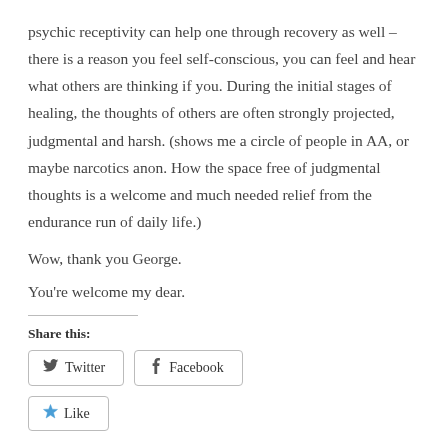psychic receptivity can help one through recovery as well – there is a reason you feel self-conscious, you can feel and hear what others are thinking if you. During the initial stages of healing, the thoughts of others are often strongly projected, judgmental and harsh. (shows me a circle of people in AA, or maybe narcotics anon. How the space free of judgmental thoughts is a welcome and much needed relief from the endurance run of daily life.)
Wow, thank you George.
You're welcome my dear.
Share this:
Twitter
Facebook
Like